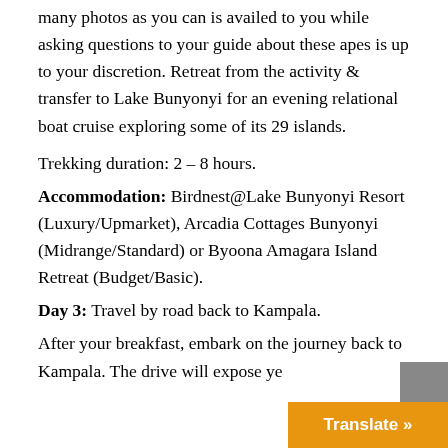many photos as you can is availed to you while asking questions to your guide about these apes is up to your discretion. Retreat from the activity & transfer to Lake Bunyonyi for an evening relational boat cruise exploring some of its 29 islands.
Trekking duration: 2 – 8 hours.
Accommodation: Birdnest@Lake Bunyonyi Resort (Luxury/Upmarket), Arcadia Cottages Bunyonyi (Midrange/Standard) or Byoona Amagara Island Retreat (Budget/Basic).
Day 3: Travel by road back to Kampala.
After your breakfast, embark on the journey back to Kampala. The drive will expose ye...